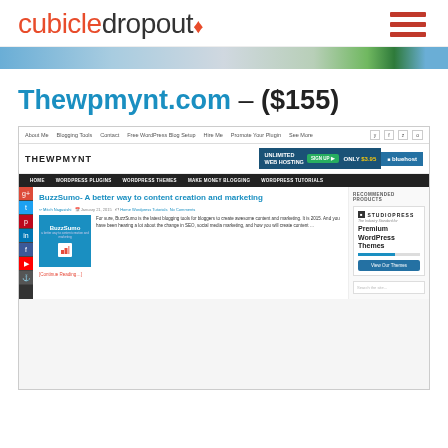cubicledropout
[Figure (screenshot): Partial screenshot of a website banner/advertisement strip]
Thewpmynt.com – ($155)
[Figure (screenshot): Screenshot of thewpmynt.com website showing its homepage with navigation bar, Bluehost hosting advertisement, social media sidebar icons, a blog post titled 'BuzzSumo- A better way to content creation and marketing', and a StudioPress sidebar advertisement for Premium WordPress Themes]